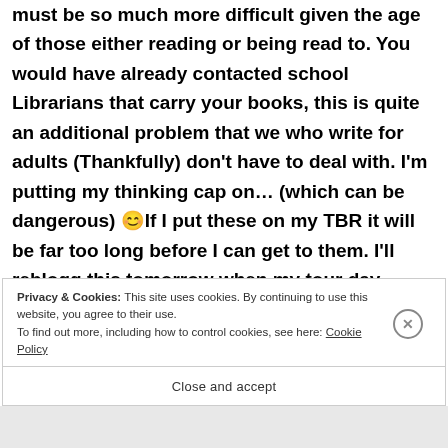must be so much more difficult given the age of those either reading or being read to. You would have already contacted school Librarians that carry your books, this is quite an additional problem that we who write for adults (Thankfully) don't have to deal with. I'm putting my thinking cap on… (which can be dangerous) 😊If I put these on my TBR it will be far too long before I can get to them. I'll reblogg this tomorrow when my tour day closes. Hugs, my friend.
Privacy & Cookies: This site uses cookies. By continuing to use this website, you agree to their use.
To find out more, including how to control cookies, see here: Cookie Policy
Close and accept